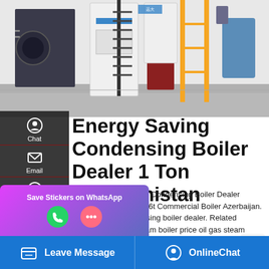[Figure (photo): Industrial boiler room interior showing multiple large boiler units, metal staircases, pipes, and yellow scaffolding in a warehouse-like space with concrete floors.]
Energy Saving Condensing Boiler Dealer 1 Ton Turkmenistan
Industrial 6 Ton Diesel Condensing Boiler Dealer Turkmenistan. Dealer 6t Commercial Boiler Azerbaijan. biomass fired condensing boiler dealer. Related Information. 2 ton steam boiler price oil gas steam boiler Kefid · A steam locomotive is a type of railway locomotive that produces its pulling power through a …otives are
[Figure (screenshot): Save Stickers on WhatsApp promotional banner with phone and WeChat/messaging icons, purple-to-blue gradient background.]
Leave Message   OnlineChat